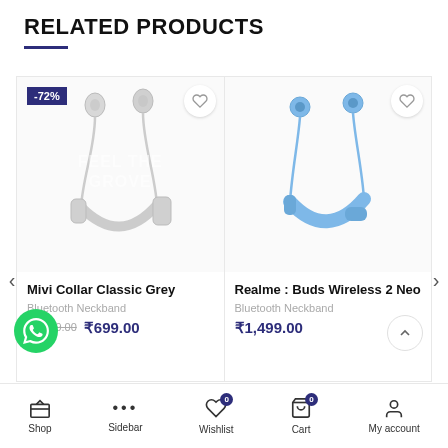RELATED PRODUCTS
[Figure (photo): Mivi Collar Classic Grey bluetooth neckband earphones in silver/grey color with -72% discount badge]
Mivi Collar Classic Grey
Bluetooth Neckband
₹2,499.00 ₹699.00
[Figure (photo): Realme Buds Wireless 2 Neo bluetooth neckband earphones in blue color]
Realme : Buds Wireless 2 Neo
Bluetooth Neckband
₹1,499.00
Shop  Sidebar  Wishlist 0  Cart 0  My account